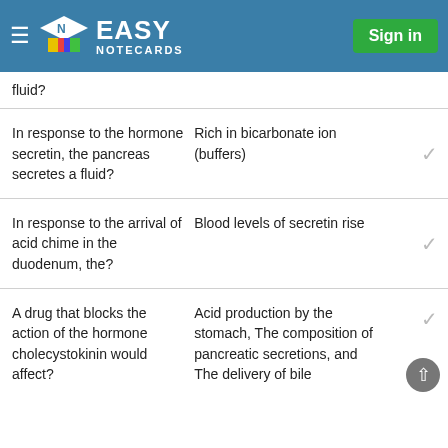Easy Notecards — Sign in
fluid?
Q: In response to the hormone secretin, the pancreas secretes a fluid? A: Rich in bicarbonate ion (buffers)
Q: In response to the arrival of acid chime in the duodenum, the? A: Blood levels of secretin rise
Q: A drug that blocks the action of the hormone cholecystokinin would affect? A: Acid production by the stomach, The composition of pancreatic secretions, and The delivery of bile